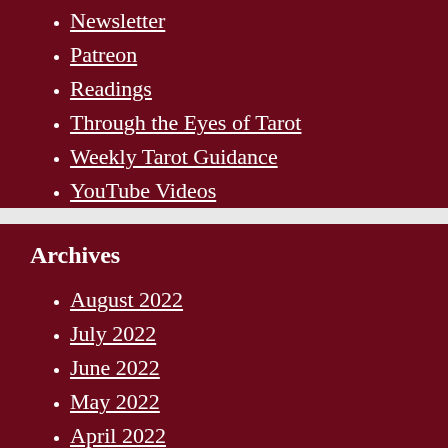Newsletter
Patreon
Readings
Through the Eyes of Tarot
Weekly Tarot Guidance
YouTube Videos
Archives
August 2022
July 2022
June 2022
May 2022
April 2022
March 2022